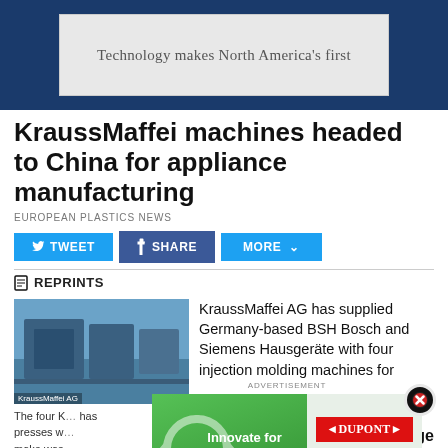[Figure (screenshot): Top advertisement banner reading 'Technology makes North America's first' on dark blue background]
KraussMaffei machines headed to China for appliance manufacturing
EUROPEAN PLASTICS NEWS
[Figure (screenshot): Social sharing buttons: TWEET, SHARE, MORE with dropdown arrow]
REPRINTS
[Figure (photo): KraussMaffei AG factory interior photo showing injection molding machines]
KraussMaffei AG has supplied Germany-based BSH Bosch and Siemens Hausgeräte with four injection molding machines for
The four K... has presses w... make was... tubs.
[Figure (screenshot): DuPont advertisement overlay: green section with 'Innovate for Good, Fostering a Circular Economy' and DuPont logo section with Learn more button]
large